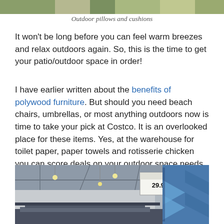[Figure (photo): Top portion of a photo showing outdoor pillows and cushions, cropped at top of page]
Outdoor pillows and cushions
It won't be long before you can feel warm breezes and relax outdoors again. So, this is the time to get your patio/outdoor space in order!
I have earlier written about the benefits of polywood furniture. But should you need beach chairs, umbrellas, or most anything outdoors now is time to take your pick at Costco. It is an overlooked place for these items. Yes, at the warehouse for toilet paper, paper towels and rotisserie chicken you can score deals on your outdoor space needs.
[Figure (photo): Photo of Costco warehouse interior showing outdoor items with a price tag reading 29.99 and a blue paddleboard on the right side]